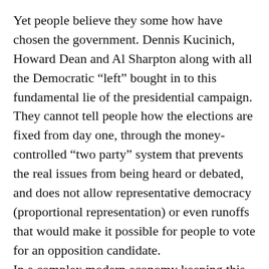Yet people believe they some how have chosen the government. Dennis Kucinich, Howard Dean and Al Sharpton along with all the Democratic “left” bought in to this fundamental lie of the presidential campaign. They cannot tell people how the elections are fixed from day one, through the money-controlled “two party” system that prevents the real issues from being heard or debated, and does not allow representative democracy (proportional representation) or even runoffs that would make it possible for people to vote for an opposition candidate.
In a complex modern economy keeping this system in place is essential for the rule of a tiny minority. Open totalitarianism would have a very deep negative impact on the economy. Far better is the illusion of democracy.
Crucial in this equation is the role “progressives,”